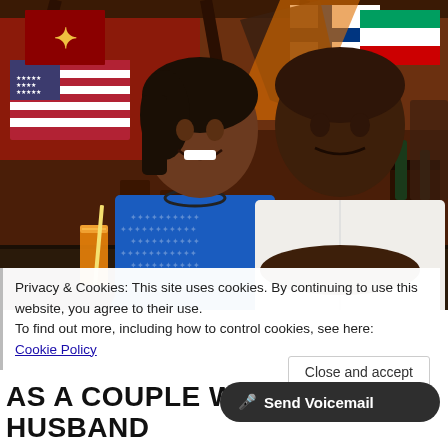[Figure (photo): A couple seated at a restaurant table smiling at the camera. The woman on the left wears a blue patterned top and necklace; the man on the right wears a white long-sleeve shirt. Behind them are various international flags hanging from the ceiling including the US flag. Drinks are on the table in front of them.]
Privacy & Cookies: This site uses cookies. By continuing to use this website, you agree to their use.
To find out more, including how to control cookies, see here:
Cookie Policy
Close and accept
🎤 Send Voicemail
AS A COUPLE WITH MY HUSBAND